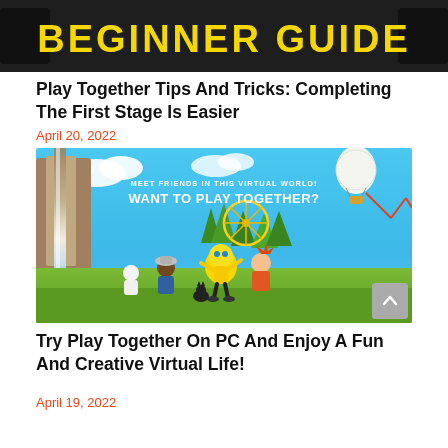[Figure (illustration): Dark banner with yellow bold text reading BEGINNER GUIDE]
Play Together Tips And Tricks: Completing The First Stage Is Easier
April 20, 2022
[Figure (photo): Play Together game promotional image with characters on a colorful virtual world background. Text overlay: MEET FRIENDS IN THIS VIRTUAL WORLD! WANT TO PLAY TOGETHER?]
Try Play Together On PC And Enjoy A Fun And Creative Virtual Life!
April 19, 2022